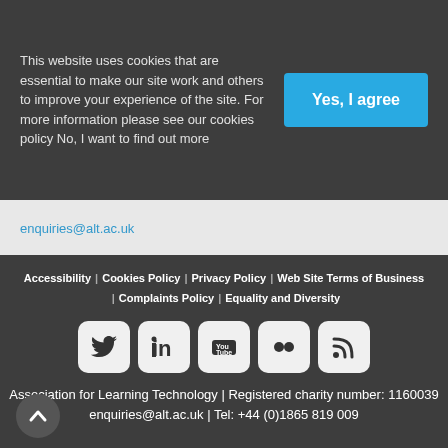This website uses cookies that are essential to make our site work and others to improve your experience of the site. For more information please see our cookies policy No, I want to find out more
Yes, I agree
enquiries@alt.ac.uk
Accessibility | Cookies Policy | Privacy Policy | Web Site Terms of Business | Complaints Policy | Equality and Diversity
[Figure (other): Social media icons: Twitter, LinkedIn, YouTube, Flickr, RSS]
Association for Learning Technology | Registered charity number: 1160039
enquiries@alt.ac.uk | Tel: +44 (0)1865 819 009